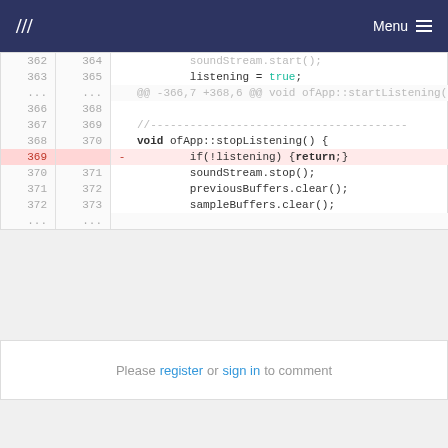/// Menu
[Figure (screenshot): Code diff view showing C++ code for ofApp::startListening and ofApp::stopListening functions. Lines 362-372 on left (old), 364-373 on right (new). Removed line 369: if(!listening) {return;}]
Please register or sign in to comment